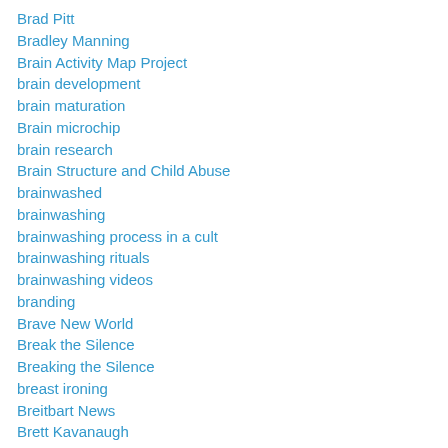Brad Pitt
Bradley Manning
Brain Activity Map Project
brain development
brain maturation
Brain microchip
brain research
Brain Structure and Child Abuse
brainwashed
brainwashing
brainwashing process in a cult
brainwashing rituals
brainwashing videos
branding
Brave New World
Break the Silence
Breaking the Silence
breast ironing
Breitbart News
Brett Kavanaugh